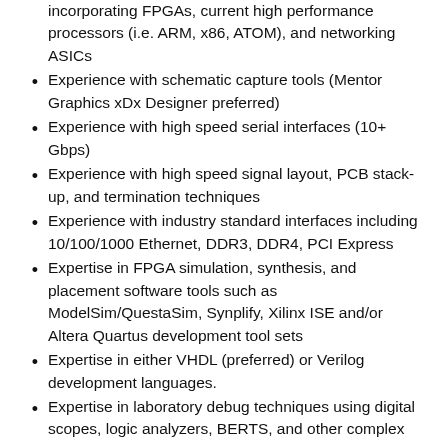incorporating FPGAs, current high performance processors (i.e. ARM, x86, ATOM), and networking ASICs
Experience with schematic capture tools (Mentor Graphics xDx Designer preferred)
Experience with high speed serial interfaces (10+ Gbps)
Experience with high speed signal layout, PCB stack-up, and termination techniques
Experience with industry standard interfaces including 10/100/1000 Ethernet, DDR3, DDR4, PCI Express
Expertise in FPGA simulation, synthesis, and placement software tools such as ModelSim/QuestaSim, Synplify, Xilinx ISE and/or Altera Quartus development tool sets
Expertise in either VHDL (preferred) or Verilog development languages.
Expertise in laboratory debug techniques using digital scopes, logic analyzers, BERTS, and other complex measurement devices